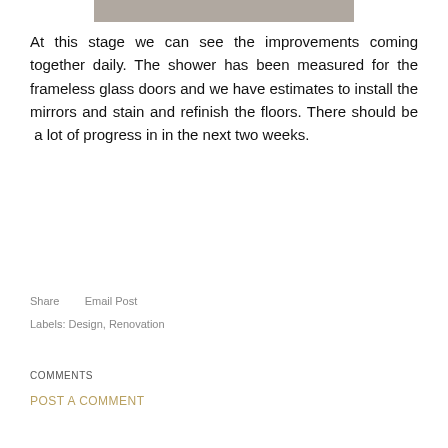[Figure (photo): Partial view of a photo strip at the top of the page showing what appears to be a construction or renovation scene]
At this stage we can see the improvements coming together daily. The shower has been measured for the frameless glass doors and we have estimates to install the mirrors and stain and refinish the floors. There should be a lot of progress in in the next two weeks.
Share    Email Post
Labels: Design, Renovation
COMMENTS
POST A COMMENT